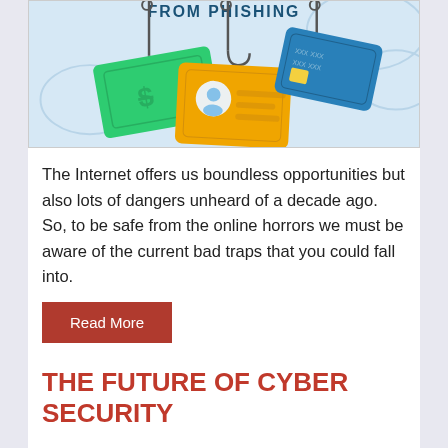[Figure (illustration): Illustration showing phishing concept: fish hooks dangling over a green dollar bill, an orange ID/credit card with a person icon, and a blue credit card with X marks, on a light blue background. Partial title text 'FROM PHISHING' visible at the top.]
The Internet offers us boundless opportunities but also lots of dangers unheard of a decade ago. So, to be safe from the online horrors we must be aware of the current bad traps that you could fall into.
Read More
THE FUTURE OF CYBER SECURITY